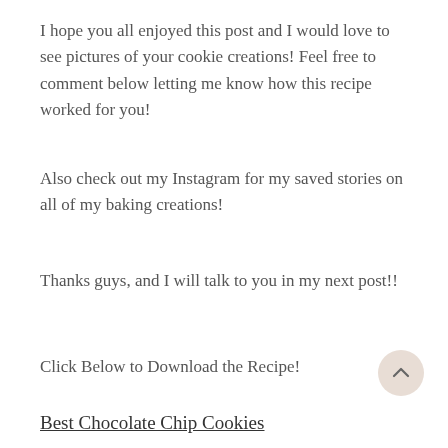I hope you all enjoyed this post and I would love to see pictures of your cookie creations! Feel free to comment below letting me know how this recipe worked for you!
Also check out my Instagram for my saved stories on all of my baking creations!
Thanks guys, and I will talk to you in my next post!!
Click Below to Download the Recipe!
Best Chocolate Chip Cookies